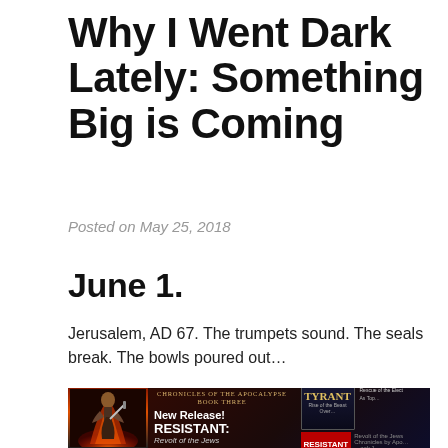Why I Went Dark Lately: Something Big is Coming
Posted on May 25, 2018
June 1.
Jerusalem, AD 67. The trumpets sound. The seals break. The bowls poured out…
[Figure (illustration): Book advertisement banner for 'Chronicles of the Apocalypse Book Three' featuring a warrior figure with fire, and book covers for TYRANT: Rise of the Beast, REMNANT: Rescue of the Elect, and RESISTANT: Revolt of the Jews. New Release announcement.]